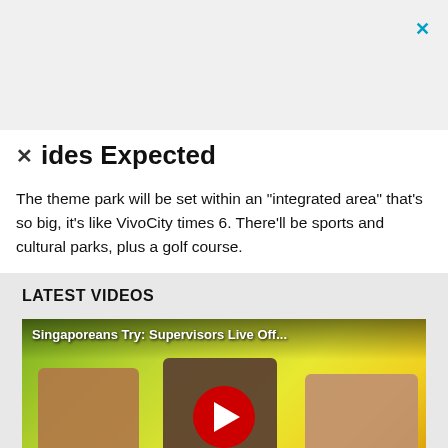[Figure (screenshot): Top ad bar area with close X button in blue]
ides Expected
The theme park will be set within an "integrated area" that's so big, it's like VivoCity times 6. There'll be sports and cultural parks, plus a golf course.
LATEST VIDEOS
[Figure (screenshot): YouTube video thumbnail: Singaporeans Try: Supervisors Live Off... showing three people with text LIVE OFF and INTERNALLOWANCE at the bottom, with a red play button in the center]